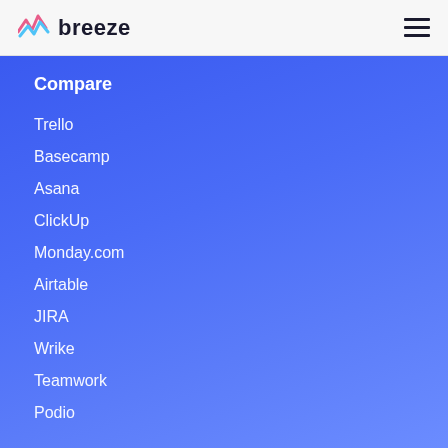breeze
Compare
Trello
Basecamp
Asana
ClickUp
Monday.com
Airtable
JIRA
Wrike
Teamwork
Podio